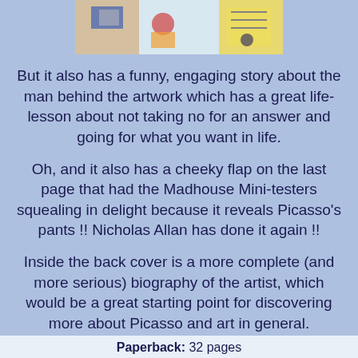[Figure (photo): Colorful illustrated book cover showing artwork in Picasso style with figures and bright colors]
But it also has a funny, engaging story about the man behind the artwork which has a great life-lesson about not taking no for an answer and going for what you want in life.
Oh, and it also has a cheeky flap on the last page that had the Madhouse Mini-testers squealing in delight because it reveals Picasso's pants !! Nicholas Allan has done it again !!
Inside the back cover is a more complete (and more serious) biography of the artist, which would be a great starting point for discovering more about Picasso and art in general.
star rating : 5/5
RRP : £5.99
Paperback: 32 pages